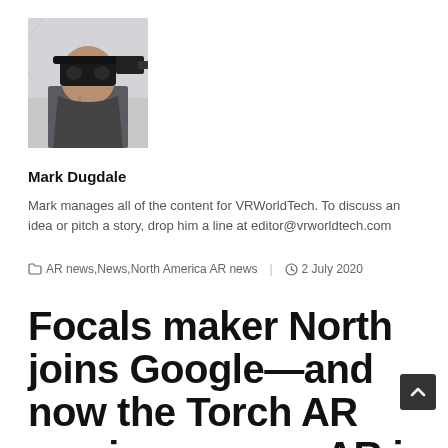[Figure (photo): Author photo: person wearing VR/AR headset, shot from side, dark jacket, lanyard visible]
Mark Dugdale
Mark manages all of the content for VRWorldTech. To discuss an idea or pitch a story, drop him a line at editor@vrworldtech.com
AR news,News,North America AR news  |  2 July 2020
Focals maker North joins Google—and now the Torch AR app is no more. AR is growing, but not without some pains